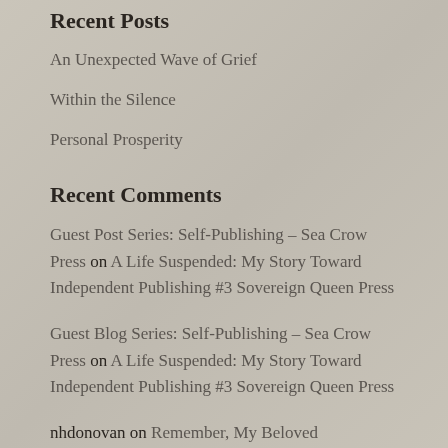Recent Posts
An Unexpected Wave of Grief
Within the Silence
Personal Prosperity
Recent Comments
Guest Post Series: Self-Publishing – Sea Crow Press on A Life Suspended: My Story Toward Independent Publishing #3 Sovereign Queen Press
Guest Blog Series: Self-Publishing – Sea Crow Press on A Life Suspended: My Story Toward Independent Publishing #3 Sovereign Queen Press
nhdonovan on Remember, My Beloved